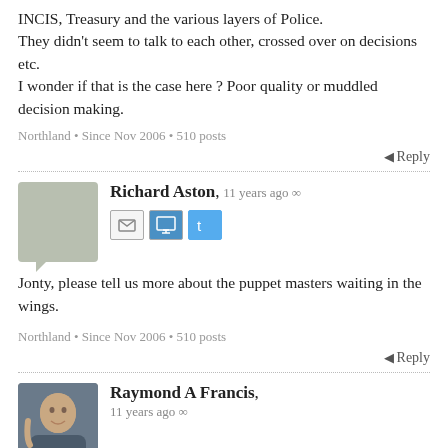INCIS, Treasury and the various layers of Police. They didn't seem to talk to each other, crossed over on decisions etc.
I wonder if that is the case here ? Poor quality or muddled decision making.
Northland • Since Nov 2006 • 510 posts
Reply
Richard Aston, 11 years ago ∞
Jonty, please tell us more about the puppet masters waiting in the wings.
Northland • Since Nov 2006 • 510 posts
Reply
Raymond A Francis, 11 years ago ∞
I am sorry but when I hear
It will cost the Auckland Council more than half a